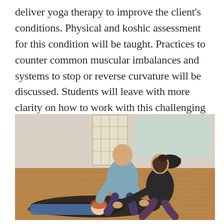deliver yoga therapy to improve the client's conditions. Physical and koshic assessment for this condition will be taught. Practices to counter common muscular imbalances and systems to stop or reverse curvature will be discussed. Students will leave with more clarity on how to work with this challenging condition that can be greatly benefited by yoga therapy.
[Figure (photo): A yoga therapy session showing a bald male instructor in a blue-grey long-sleeve shirt kneeling beside a woman in a black top who is seated and working with a client lying on a black yoga mat on a wooden floor. The room has a shoji screen divider, wooden flooring, and yoga props visible in the background.]